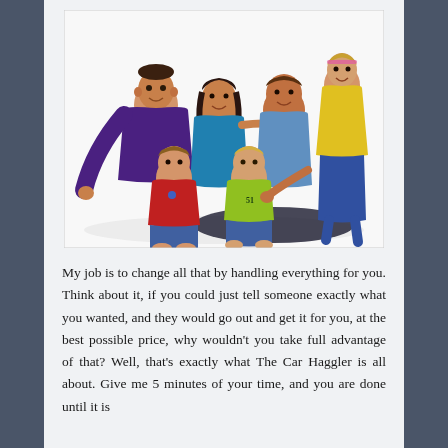[Figure (photo): A family portrait of two parents and three children on a white background. A teenage boy in purple shirt on left, mother in blue top center, father in light blue shirt right, a young girl in yellow dress standing at top right, a toddler boy in red polo shirt seated front left, and a young child in yellow shirt seated front center.]
My job is to change all that by handling everything for you. Think about it, if you could just tell someone exactly what you wanted, and they would go out and get it for you, at the best possible price, why wouldn't you take full advantage of that? Well, that's exactly what The Car Haggler is all about. Give me 5 minutes of your time, and you are done until it is